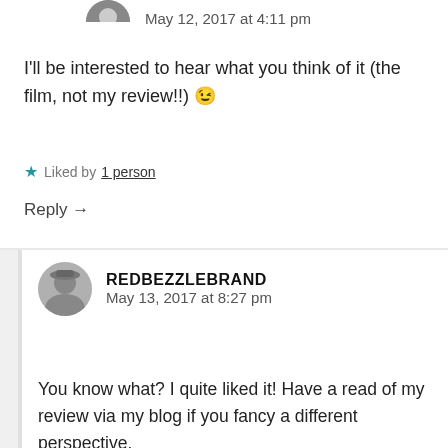May 12, 2017 at 4:11 pm
I'll be interested to hear what you think of it (the film, not my review!!) 😉
Liked by 1 person
Reply →
REDBEZZLEBRAND
May 13, 2017 at 8:27 pm
You know what? I quite liked it! Have a read of my review via my blog if you fancy a different perspective.
Liked by 1 person